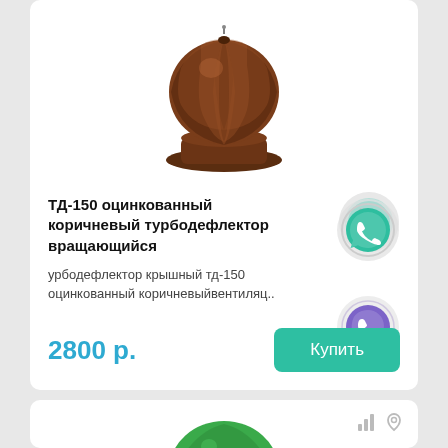[Figure (photo): Brown rotating turbine roof deflector/ventilator product photo on white background]
ТД-150 оцинкованный коричневый турбодефлектор вращающийся
урбодефлектор крышный тд-150 оцинкованный коричневыйвентиляц..
2800 р.
[Figure (logo): WhatsApp icon — teal circle with white handset]
[Figure (logo): Viber icon — purple circle with white phone handset]
[Figure (photo): Green rotating turbine roof deflector/ventilator product photo — partially visible in second card]